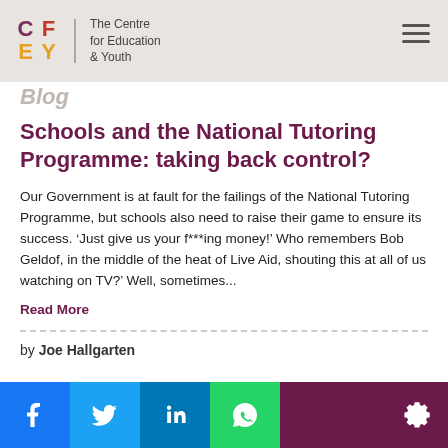The Centre for Education & Youth
Blog
Schools and the National Tutoring Programme: taking back control?
Our Government is at fault for the failings of the National Tutoring Programme, but schools also need to raise their game to ensure its success. ‘Just give us your f***ing money!’ Who remembers Bob Geldof, in the middle of the heat of Live Aid, shouting this at all of us watching on TV?’ Well, sometimes...
Read More
by Joe Hallgarten